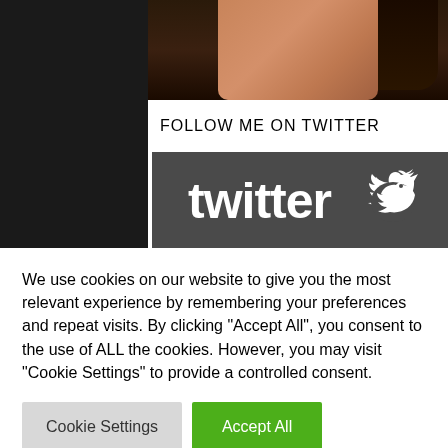[Figure (photo): Partial photo of a person against a dark background, cropped at top, showing skin and dark hair]
FOLLOW ME ON TWITTER
[Figure (logo): Twitter logo — white twitter bird and 'twitter' wordmark on dark grey background]
We use cookies on our website to give you the most relevant experience by remembering your preferences and repeat visits. By clicking “Accept All”, you consent to the use of ALL the cookies. However, you may visit "Cookie Settings" to provide a controlled consent.